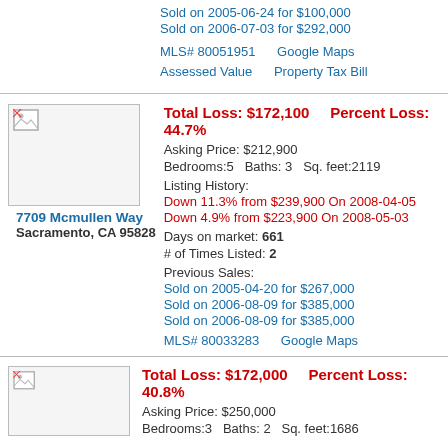Sold on 2005-06-24 for $100,000
Sold on 2006-07-03 for $292,000
MLS# 80051951    Google Maps
Assessed Value    Property Tax Bill
Total Loss: $172,100    Percent Loss: 44.7%
Asking Price: $212,900
Bedrooms:5    Baths: 3    Sq. feet:2119
Listing History:
Down 11.3% from $239,900 On 2008-04-05
Down 4.9% from $223,900 On 2008-05-03
Days on market: 661
# of Times Listed: 2
Previous Sales:
Sold on 2005-04-20 for $267,000
Sold on 2006-08-09 for $385,000
Sold on 2006-08-09 for $385,000
MLS# 80033283    Google Maps
7709 Mcmullen Way
Sacramento, CA 95828
Total Loss: $172,000    Percent Loss: 40.8%
Asking Price: $250,000
Bedrooms:3    Baths: 2    Sq. feet:1686